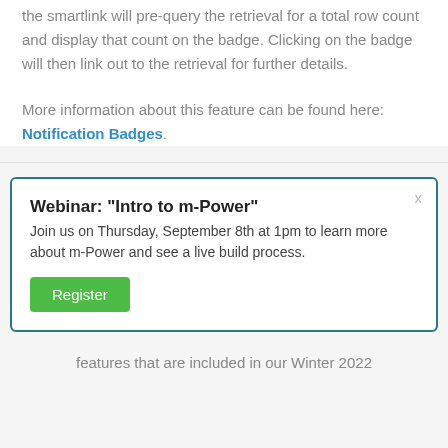the smartlink will pre-query the retrieval for a total row count and display that count on the badge. Clicking on the badge will then link out to the retrieval for further details.
More information about this feature can be found here: Notification Badges.
Webinar: "Intro to m-Power"
Join us on Thursday, September 8th at 1pm to learn more about m-Power and see a live build process.
[Register button]
features that are included in our Winter 2022